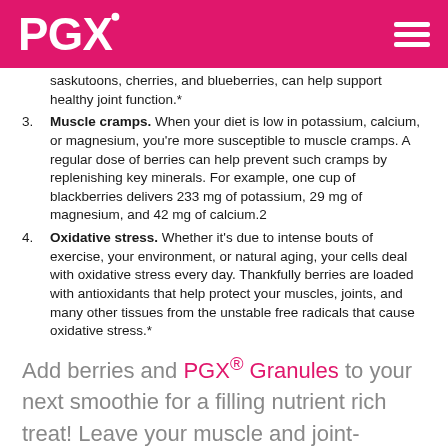PGX
saskutoons, cherries, and blueberries, can help support healthy joint function.*
Muscle cramps. When your diet is low in potassium, calcium, or magnesium, you're more susceptible to muscle cramps. A regular dose of berries can help prevent such cramps by replenishing key minerals. For example, one cup of blackberries delivers 233 mg of potassium, 29 mg of magnesium, and 42 mg of calcium.2
Oxidative stress. Whether it's due to intense bouts of exercise, your environment, or natural aging, your cells deal with oxidative stress every day. Thankfully berries are loaded with antioxidants that help protect your muscles, joints, and many other tissues from the unstable free radicals that cause oxidative stress.*
Add berries and PGX® Granules to your next smoothie for a filling nutrient rich treat! Leave your muscle and joint-friendly tips in the